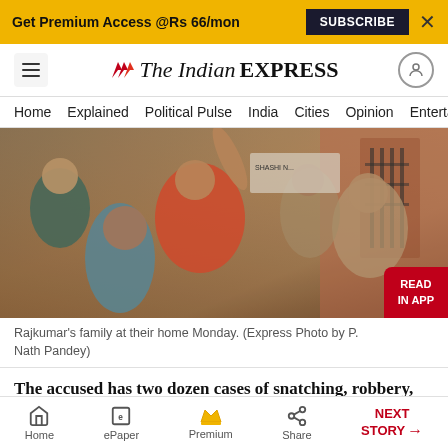Get Premium Access @Rs 66/mon  SUBSCRIBE  ×
The Indian EXPRESS — Home, Explained, Political Pulse, India, Cities, Opinion, Entertainment
[Figure (photo): Women grieving, Rajkumar's family at their home on Monday. Express Photo.]
Rajkumar's family at their home Monday. (Express Photo by P. Nath Pandey)
The accused has two dozen cases of snatching, robbery, auto lifting and theft against him, said DCP (Shahdara)
Home  ePaper  Premium  Share  NEXT STORY →